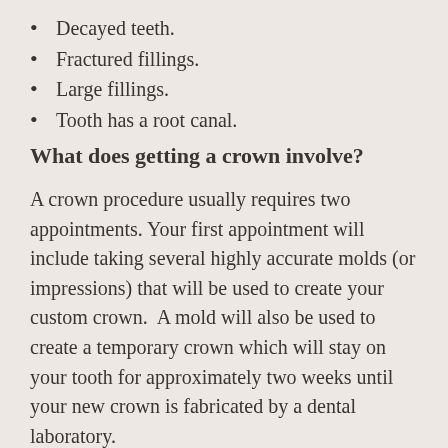Decayed teeth.
Fractured fillings.
Large fillings.
Tooth has a root canal.
What does getting a crown involve?
A crown procedure usually requires two appointments. Your first appointment will include taking several highly accurate molds (or impressions) that will be used to create your custom crown.  A mold will also be used to create a temporary crown which will stay on your tooth for approximately two weeks until your new crown is fabricated by a dental laboratory.
While the tooth is numb, the dentist will prepare the tooth by removing any decay and shaping the surface to properly fit the crown.  Once these details are accomplished, your temporary crown will be placed with temporary cement and your bite will be checked to